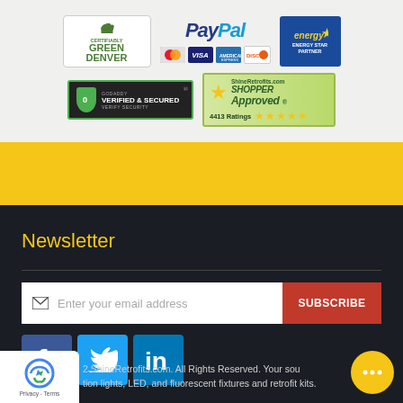[Figure (logo): Certifiably Green Denver badge]
[Figure (logo): PayPal logo with credit card icons (MasterCard, Visa, American Express, Discover)]
[Figure (logo): Energy Star Partner badge]
[Figure (logo): GoDaddy Verified & Secured badge]
[Figure (logo): ShineRetrofits.com Shopper Approved badge with 4413 ratings and 5 stars]
Newsletter
Enter your email address
SUBSCRIBE
[Figure (logo): Facebook, Twitter, LinkedIn social media icons]
[Figure (logo): reCAPTCHA Privacy - Terms box]
2 ShineRetrofits.com. All Rights Reserved. Your sou tion lights, LED, and fluorescent fixtures and retrofit kits.